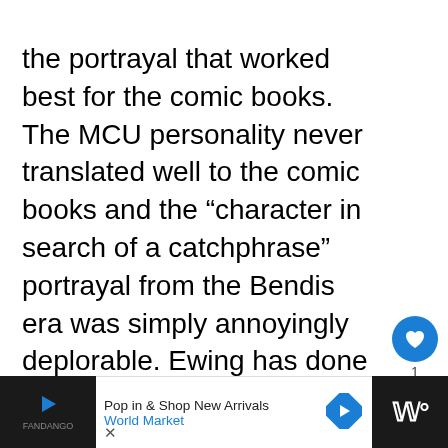the portrayal that worked best for the comic books. The MCU personality never translated well to the comic books and the “character in search of a catchphrase” portrayal from the Bendis era was simply annoyingly deplorable. Ewing has done quite a bit to rehabilitate the damage done to the characters by Gunn and Bendis, so I’m hoping this identity crisis process ends soon with Rocket returning to his better portrayal from bygone days.
[Figure (other): Like (heart) button with count of 1 and share button overlaid on the right side of the text]
[Figure (other): Advertisement bar at the bottom: World Market 'Pop in & Shop New Arrivals' ad with play button, logo, arrow icon, and a dark right panel with W logo]